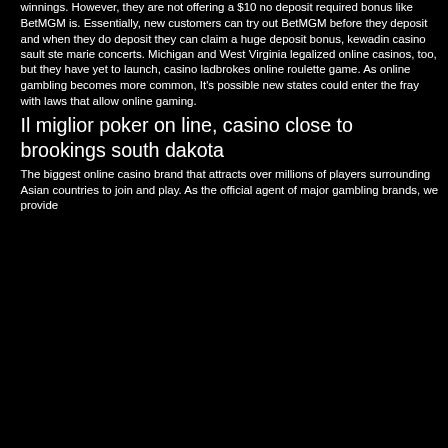winnings. However, they are not offering a $10 no deposit required bonus like BetMGM is. Essentially, new customers can try out BetMGM before they deposit and when they do deposit they can claim a huge deposit bonus, kewadin casino sault ste marie concerts. Michigan and West Virginia legalized online casinos, too, but they have yet to launch, casino ladbrokes online roulette game. As online gambling becomes more common, It's possible new states could enter the fray with laws that allow online gaming.
Il miglior poker on line, casino close to brookings south dakota
The biggest online casino brand that attracts over millions of players surrounding Asian countries to join and play. As the official agent of major gambling brands, we provide